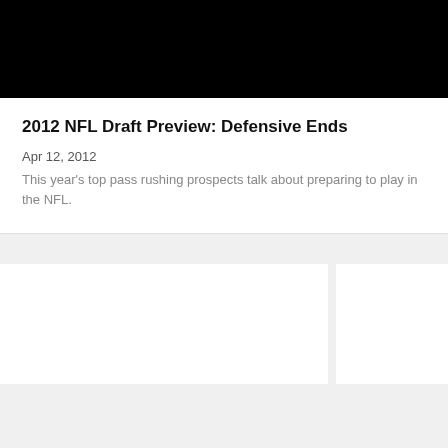[Figure (photo): Black image area at top of page]
2012 NFL Draft Preview: Defensive Ends
Apr 12, 2012
This year's top pass rushing prospects talk about preparing to play in the NFL.
[Figure (photo): White content card area, left, partially visible]
[Figure (photo): White content card area, right, partially visible]